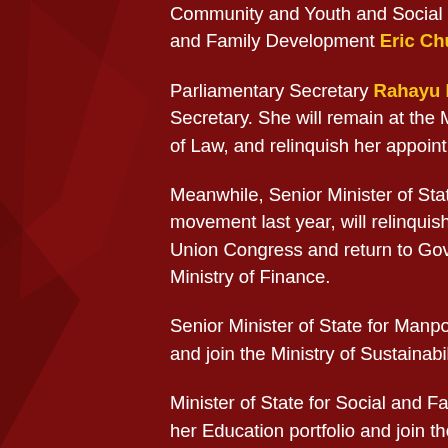Community and Youth and Social and Family Development Eric Chua will be promoted...
Parliamentary Secretary Rahayu Mahzam will... Secretary. She will remain at the Ministry of Health... of Law, and relinquish her appointment at the Ministry...
Meanwhile, Senior Minister of State for Transport... movement last year, will relinquish his role as d... Union Congress and return to Government full-time... Ministry of Finance.
Senior Minister of State for Manpower and Health... and join the Ministry of Sustainability and the Environment...
Minister of State for Social and Family Development... her Education portfolio and join the Ministry of Home...
Minister of State for Home Affairs and Sustainability... relinquish their portfolios and will be appointed...